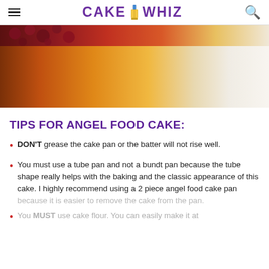CAKE WHIZ
[Figure (photo): Close-up photo of a slice of angel food cake with berries on top, golden sponge texture visible, on a white plate background]
TIPS FOR ANGEL FOOD CAKE:
DON'T grease the cake pan or the batter will not rise well.
You must use a tube pan and not a bundt pan because the tube shape really helps with the baking and the classic appearance of this cake. I highly recommend using a 2 piece angel food cake pan because it is easier to remove the cake from the pan.
You MUST use cake flour. You can easily make it at